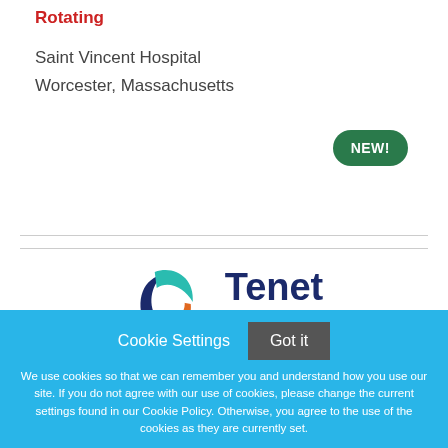Rotating
Saint Vincent Hospital
Worcester, Massachusetts
[Figure (other): Green oval badge with text NEW!]
[Figure (logo): Tenet Health logo with blue, teal, and orange swirl icon and bold navy text]
Cookie Settings   Got it
We use cookies so that we can remember you and understand how you use our site. If you do not agree with our use of cookies, please change the current settings found in our Cookie Policy. Otherwise, you agree to the use of the cookies as they are currently set.